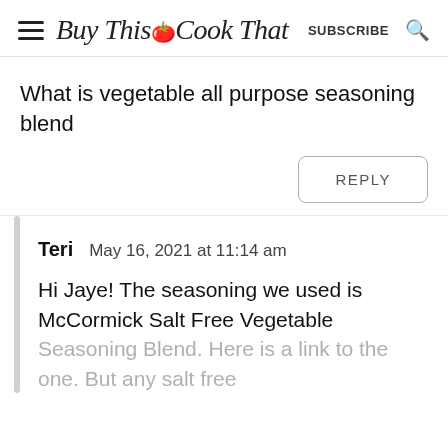Buy This Cook That — SUBSCRIBE
What is vegetable all purpose seasoning blend
REPLY
Teri  May 16, 2021 at 11:14 am
Hi Jaye! The seasoning we used is McCormick Salt Free Vegetable Seasoning Blend. Here is a link to the one. But any salt free